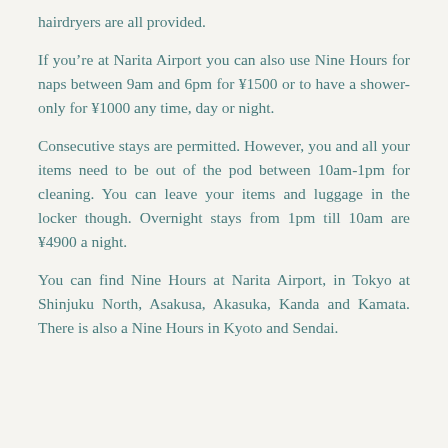hairdryers are all provided.
If you're at Narita Airport you can also use Nine Hours for naps between 9am and 6pm for ¥1500 or to have a shower-only for ¥1000 any time, day or night.
Consecutive stays are permitted. However, you and all your items need to be out of the pod between 10am-1pm for cleaning. You can leave your items and luggage in the locker though. Overnight stays from 1pm till 10am are ¥4900 a night.
You can find Nine Hours at Narita Airport, in Tokyo at Shinjuku North, Asakusa, Akasuka, Kanda and Kamata. There is also a Nine Hours in Kyoto and Sendai.